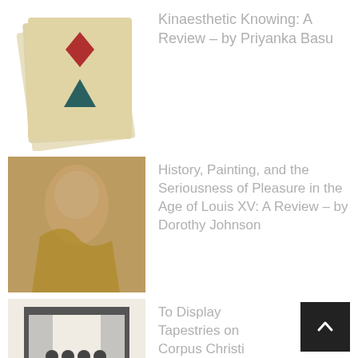Kinaesthetic Knowing: A Review – by Priyanka Basu
History, Painting, and the Seriousness of Pleasure in the Age of Louis XV: A Review – by Dorothy Johnson
To Display Tapestries on Corpus Christi or Not: Finding a Compromise – by Danielle Kisluk-Grosheide
The Hunter and the Hunted: The Crown's "The Balmoral Test" (S4.E2) – by Kimberly Rhodes